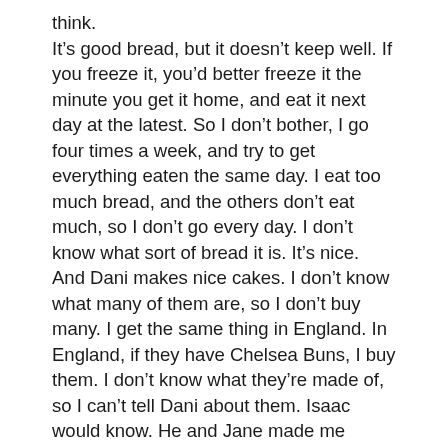think.
It's good bread, but it doesn't keep well. If you freeze it, you'd better freeze it the minute you get it home, and eat it next day at the latest. So I don't bother, I go four times a week, and try to get everything eaten the same day. I eat too much bread, and the others don't eat much, so I don't go every day. I don't know what sort of bread it is. It's nice. And Dani makes nice cakes. I don't know what many of them are, so I don't buy many. I get the same thing in England. In England, if they have Chelsea Buns, I buy them. I don't know what they're made of, so I can't tell Dani about them. Isaac would know. He and Jane made me some. For some reason, if there's something I like, they only make it once. They won't make me any shortbread. They keep making excuses. Isaac and Grandma made me some last year, and it was beautiful, and I said, make it exactly like that. So they made some that wasn't quite as good, and now they won't make any more. I do say nice, encouraging things about it.